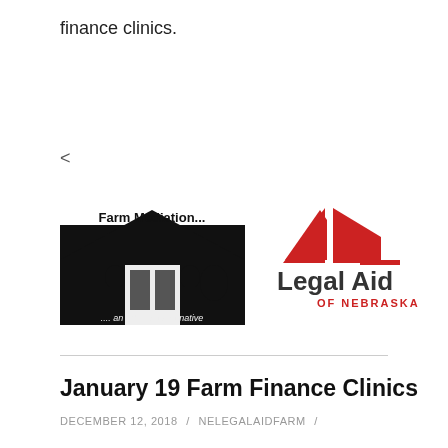finance clinics.
<
[Figure (logo): Farm Mediation logo - black and white image with barn/farm silhouette and text 'Farm Mediation... an effective alternative']
[Figure (logo): Legal Aid of Nebraska logo - red geometric shapes above 'Legal Aid' text with 'OF NEBRASKA' below]
January 19 Farm Finance Clinics
DECEMBER 12, 2018 / NELEGALAIDFARM /